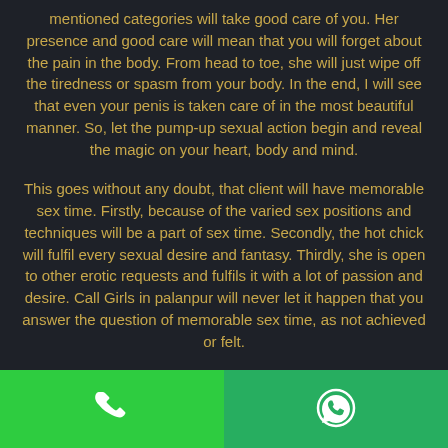mentioned categories will take good care of you. Her presence and good care will mean that you will forget about the pain in the body. From head to toe, she will just wipe off the tiredness or spasm from your body. In the end, I will see that even your penis is taken care of in the most beautiful manner. So, let the pump-up sexual action begin and reveal the magic on your heart, body and mind.

This goes without any doubt, that client will have memorable sex time. Firstly, because of the varied sex positions and techniques will be a part of sex time. Secondly, the hot chick will fulfil every sexual desire and fantasy. Thirdly, she is open to other erotic requests and fulfils it with a lot of passion and desire. Call Girls in palanpur will never let it happen that you answer the question of memorable sex time, as not achieved or felt.

The only objective of every man to receive hot love is to completely get erotically satisfied. For this, one is needed to make sure that contacting with the right
[Figure (other): Footer bar with two sections: left green section with white phone call icon, right darker green section with white WhatsApp icon]